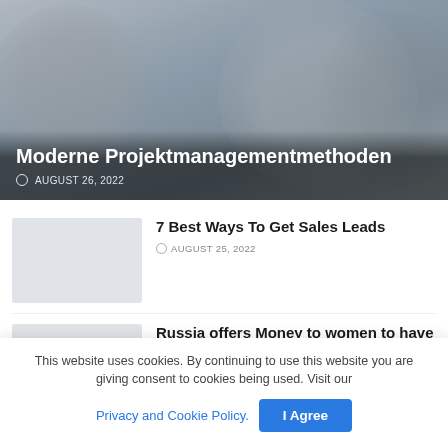[Figure (photo): Hero image of people in a group, blurred/muted background photo]
Moderne Projektmanagementmethoden
AUGUST 26, 2022
7 Best Ways To Get Sales Leads
AUGUST 25, 2022
Russia offers Money to women to have 10 kids: New Repopulation Scheme
AUGUST 19, 2022
CocoLoan Review: The Best Payday Loans Online
This website uses cookies. By continuing to use this website you are giving consent to cookies being used. Visit our
Privacy and Cookie Policy.
I Agree